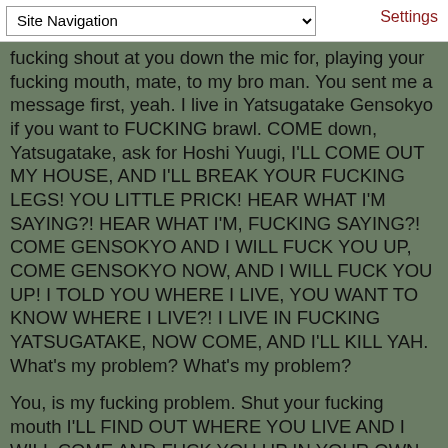Site Navigation | Settings
fucking shout at you down the mic for, playing your fucking mouth, mate, to my bro man. You sent me a message first, yeah. I live in Yatsugatake Gensokyo if you want to FUCKING brawl. COME down, Yatsugatake, ask for Hoshi Yuugi, I'LL COME OUT MY HOUSE, AND I'LL BREAK YOUR FUCKING LEGS! YOU LITTLE PRICK! HEAR WHAT I'M SAYING?! HEAR WHAT I'M, FUCKING SAYING?! COME GENSOKYO AND I WILL FUCK YOU UP, COME GENSOKYO NOW, AND I WILL FUCK YOU UP! I TOLD YOU WHERE I LIVE, YOU WANT TO KNOW WHERE I LIVE?! I LIVE IN FUCKING YATSUGATAKE, NOW COME, AND I'LL KILL YAH. What's my problem? What's my problem?

You, is my fucking problem. Shut your fucking mouth I'LL FIND OUT WHERE YOU LIVE AND I WILL COME AND FUCK YOU UP IN YOUR OWN HOUSE. SHUT THE FUCK UP YOU DON'T KNOW WHO I AM GEEZER, I AM A FUCKING MONSTER. DON'T FUCK ME ABOUT AND I'LL COME TO YOUR HOUSE AND I WILL FUCK YOU UP IN